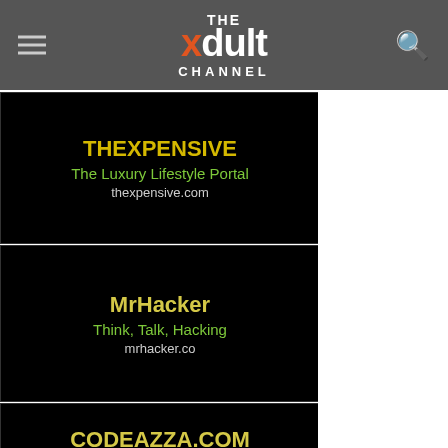THE xdult CHANNEL
[Figure (infographic): THEXPENSIVE - The Luxury Lifestyle Portal - thexpensive.com - dark card advertisement]
[Figure (infographic): MrHacker - Think, Talk, Hacking - mrhacker.co - dark card advertisement]
[Figure (infographic): CODEAZZA.COM - Free nulled scripts and plugins - codeazza.com - dark card advertisement]